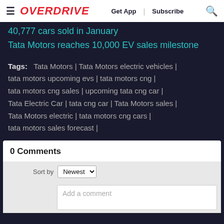≡ OVERDRIVE   Get App | Subscribe 🔍
40,777 cars sold in January
Tata Motors reaches 10,000 EV sales milestone
Tags:   Tata Motors | Tata Motors electric vehicles | tata motors upcoming evs | tata motors cng | tata motors cng sales | upcoming tata cng car | Tata Electric Car | tata cng car | Tata Motors sales | Tata Motors electric | tata motors cng cars | tata motors sales forecast |
0 Comments
Sort by Newest
Add a comment